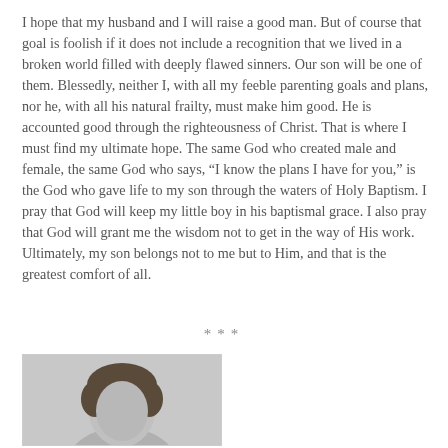I hope that my husband and I will raise a good man. But of course that goal is foolish if it does not include a recognition that we lived in a broken world filled with deeply flawed sinners. Our son will be one of them. Blessedly, neither I, with all my feeble parenting goals and plans, nor he, with all his natural frailty, must make him good. He is accounted good through the righteousness of Christ. That is where I must find my ultimate hope. The same God who created male and female, the same God who says, “I know the plans I have for you,” is the God who gave life to my son through the waters of Holy Baptism. I pray that God will keep my little boy in his baptismal grace. I also pray that God will grant me the wisdom not to get in the way of His work. Ultimately, my son belongs not to me but to Him, and that is the greatest comfort of all.
***
[Figure (photo): Black and white portrait photo of a person, cropped to show head and upper shoulders, with dark hair.]